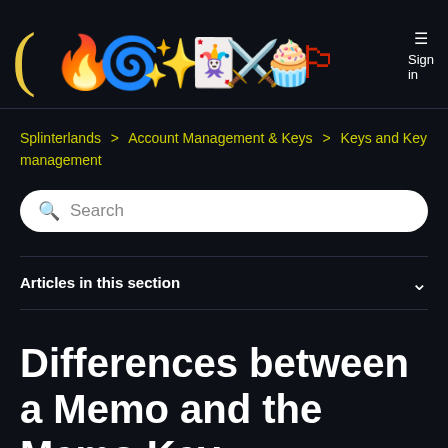[Figure (logo): Splinterlands game logo with colorful fantasy icons: parenthesis, fire character, spiral, sparkle, shield/cards, sword, cupcake/monster, banner, question mark]
Sign in
Splinterlands > Account Management & Keys > Keys and Key management
Search
Articles in this section
Differences between a Memo and the Memo Key